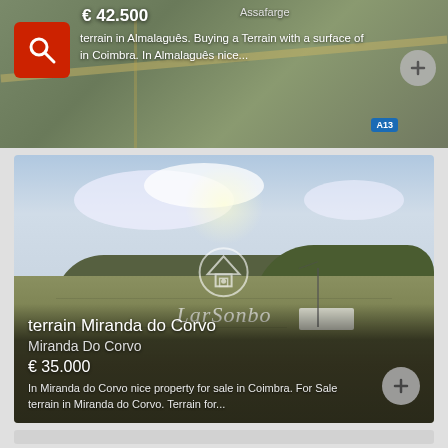[Figure (screenshot): Top listing card showing a map view of terrain in Almalaguês, Coimbra with price € 42.500 and a search button overlay]
€ 42.500
Assafarge
terrain in Almalaguês. Buying a Terrain with a surface of in Coimbra. In Almalaguês nice...
[Figure (photo): Main listing card showing a landscape photo of terrain in Miranda do Corvo with dry grass fields, cloudy sky, and hills in background, with LarSonbo watermark]
terrain Miranda do Corvo
Miranda Do Corvo
€ 35.000
In Miranda do Corvo nice property for sale in Coimbra. For Sale terrain in Miranda do Corvo. Terrain for...